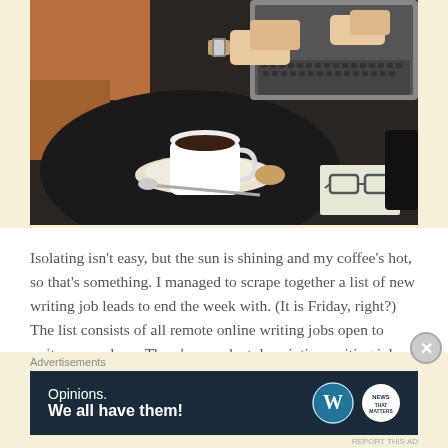[Figure (photo): Person typing on laptop at a café table with a cup of coffee on a saucer, a spoon, a cookie, and glasses on papers. Hands wearing a watch are visible on the keyboard.]
Isolating isn't easy, but the sun is shining and my coffee's hot, so that's something. I managed to scrape together a list of new writing job leads to end the week with. (It is Friday, right?) The list consists of all remote online writing jobs open to writers anywhere. There's a product description writing job
Advertisements
[Figure (screenshot): Advertisement banner for WordPress/News showing text 'Opinions. We all have them!' with WordPress logo (W in circle) and a news logo on dark navy background.]